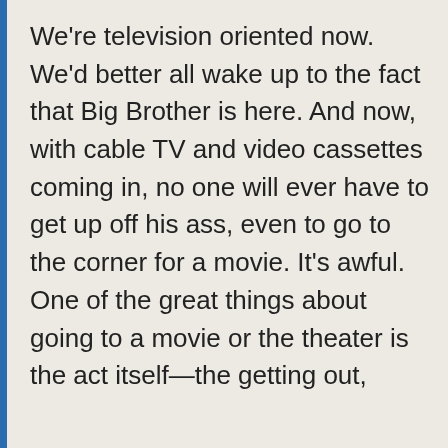We're television oriented now. We'd better all wake up to the fact that Big Brother is here. And now, with cable TV and video cassettes coming in, no one will ever have to get up off his ass, even to go to the corner for a movie. It's awful. One of the great things about going to a movie or the theater is the act itself—the getting out,